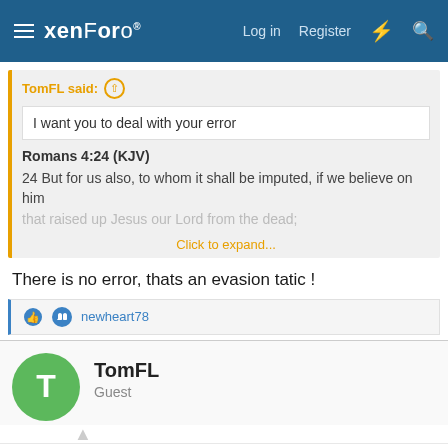xenForo | Log in | Register
TomFL said: ↑
I want you to deal with your error
Romans 4:24 (KJV)
24 But for us also, to whom it shall be imputed, if we believe on him that raised up Jesus our Lord from the dead;
Click to expand...
There is no error, thats an evasion tatic !
newheart78
TomFL
Guest
May 13, 2021  #296